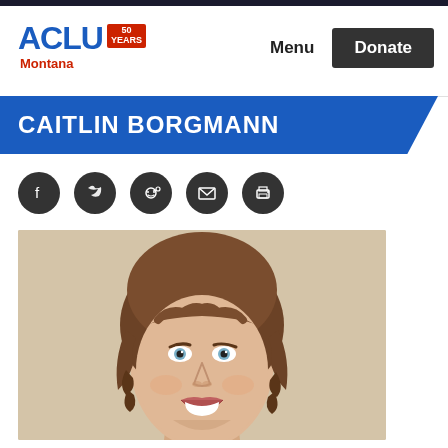ACLU Montana — Menu | Donate
CAITLIN BORGMANN
[Figure (other): Social sharing icons row: Facebook, Twitter, Reddit, Email, Print — dark circular icons]
[Figure (photo): Headshot photograph of Caitlin Borgmann, a woman with short wavy brown hair, blue eyes, smiling, against a light beige background]